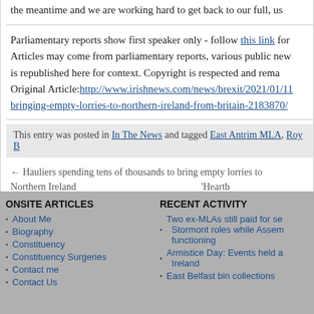the meantime and we are working hard to get back to our full, us
Parliamentary reports show first speaker only - follow this link for Articles may come from parliamentary reports, various public new is republished here for context. Copyright is respected and rema Original Article: http://www.irishnews.com/news/brexit/2021/01/11 bringing-empty-lorries-to-northern-ireland-from-britain-2183870/
This entry was posted in In The News and tagged East Antrim MLA, Roy B
← Hauliers spending tens of thousands to bring empty lorries to Northern Ireland     'Heartb
ONSITE ARTICLES
About Me
Biography
Constituency
Constituency Surgeries
Contact me
Contact Us
RECENT ACTIVITY
Two ex-MLAs still paid for se Stormont roles while Assem functioning
Armistice Day: Events held a Ireland
East Belfast bin collections